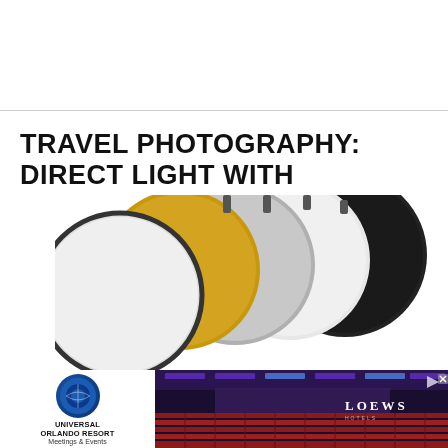TRAVEL PHOTOGRAPHY: DIRECT LIGHT WITH COLLAPSIBLE REFLECTOR & DIFFUSER
[Figure (photo): Collapsible photography reflector/diffuser set fanned out showing multiple panels: white, silver, gold, and black surfaces, partially cropped at bottom of page]
[Figure (other): Advertisement banner for Universal Orlando Resort Meetings & Events featuring Loews Hotels, showing a conference venue interior with purple/blue lighting and red seating rows]